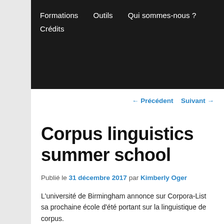Formations   Outils   Qui sommes-nous ?   Crédits
← Précédent   Suivant →
Corpus linguistics summer school
Publié le 31 décembre 2017 par Kimberly Oger
L'université de Birmingham annonce sur Corpora-List sa prochaine école d'été portant sur la linguistique de corpus.
Following the success of the two previous Corpus Linguistics Summer Schools in 2016 and 2017, we are